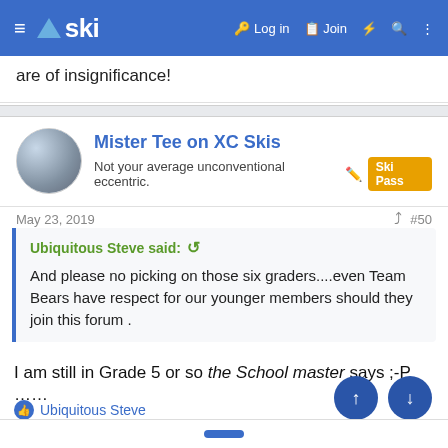ski — Log in  Join
are of insignificance!
Mister Tee on XC Skis
Not your average unconventional eccentric. Ski Pass
May 23, 2019  #50
Ubiquitous Steve said:
And please no picking on those six graders....even Team Bears have respect for our younger members should they join this forum .
I am still in Grade 5 or so the School master says ;-P ......
Ubiquitous Steve